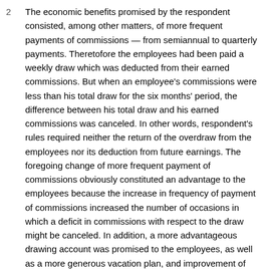The economic benefits promised by the respondent consisted, among other matters, of more frequent payments of commissions — from semiannual to quarterly payments. Theretofore the employees had been paid a weekly draw which was deducted from their earned commissions. But when an employee's commissions were less than his total draw for the six months' period, the difference between his total draw and his earned commissions was canceled. In other words, respondent's rules required neither the return of the overdraw from the employees nor its deduction from future earnings. The foregoing change of more frequent payment of commissions obviously constituted an advantage to the employees because the increase in frequency of payment of commissions increased the number of occasions in which a deficit in commissions with respect to the draw might be canceled. In addition, a more advantageous drawing account was promised to the employees, as well as a more generous vacation plan, and improvement of existing locker and rest room facilities.
The Board was justified in concluding that through the promises of the economic benefits above mentioned, the respondent was demonstrating to its employees that resort to self-organization was plainly unnecessary. This constituted interference with the exercise by the employees of their right of self-organization and collective